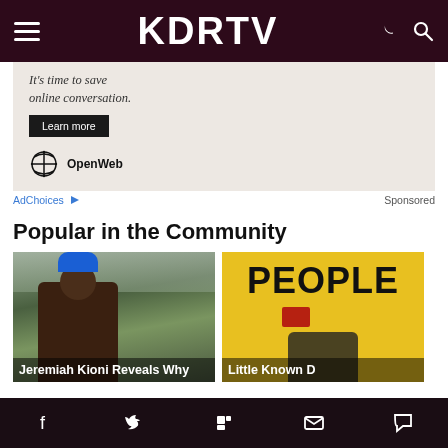KDRTV
[Figure (other): Advertisement banner: 'It's time to save online conversation. Learn more' with OpenWeb logo]
AdChoices  Sponsored
Popular in the Community
[Figure (photo): Man wearing blue AZUL cap outdoors with green background]
Jeremiah Kioni Reveals Why
[Figure (photo): Yellow sign reading PEOPLE with person partially visible]
Little Known D
Social share bar: Facebook, Twitter, Flipboard, Email, Comment